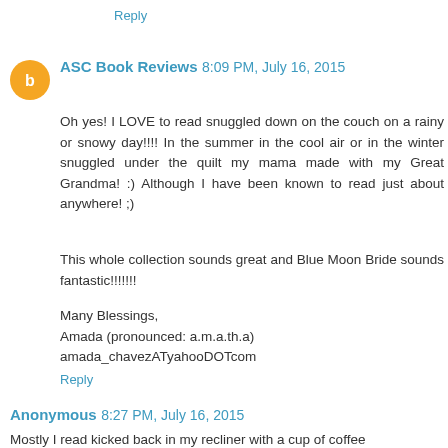Reply
ASC Book Reviews 8:09 PM, July 16, 2015
Oh yes! I LOVE to read snuggled down on the couch on a rainy or snowy day!!!! In the summer in the cool air or in the winter snuggled under the quilt my mama made with my Great Grandma! :) Although I have been known to read just about anywhere! ;)
This whole collection sounds great and Blue Moon Bride sounds fantastic!!!!!!!
Many Blessings,
Amada (pronounced: a.m.a.th.a)
amada_chavezATyahooDOTcom
Reply
Anonymous 8:27 PM, July 16, 2015
Mostly I read kicked back in my recliner with a cup of coffee